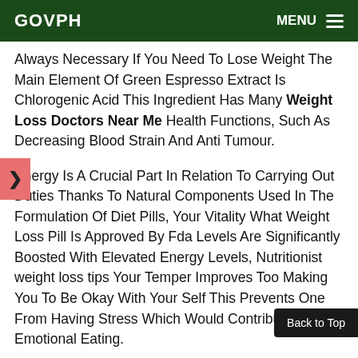GOVPH  MENU
Always Necessary If You Need To Lose Weight The Main Element Of Green Espresso Extract Is Chlorogenic Acid This Ingredient Has Many Weight Loss Doctors Near Me Health Functions, Such As Decreasing Blood Strain And Anti Tumour.
Energy Is A Crucial Part In Relation To Carrying Out Duties Thanks To Natural Components Used In The Formulation Of Diet Pills, Your Vitality What Weight Loss Pill Is Approved By Fda Levels Are Significantly Boosted With Elevated Energy Levels, Nutritionist weight loss tips Your Temper Improves Too Making You To Be Okay With Your Self This Prevents One From Having Stress Which Would Contribute To Emotional Eating.
This Is Principally Because Of Inappropriate Ranges Of